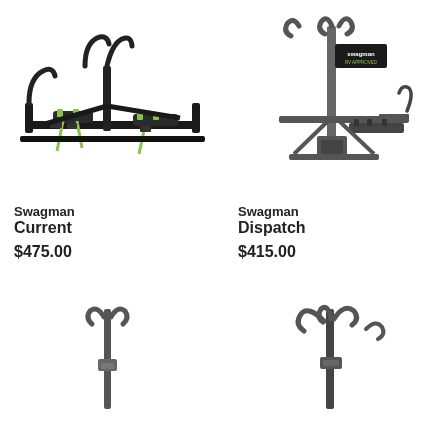[Figure (photo): Swagman Current bike carrier rack shown horizontally with green straps and cradles]
[Figure (photo): Swagman Dispatch bike carrier rack shown with Swagman RV Approved badge]
Swagman Current
$475.00
Swagman Dispatch
$415.00
[Figure (photo): Bike rack partial view, bottom left product]
[Figure (photo): Bike rack partial view, bottom right product]